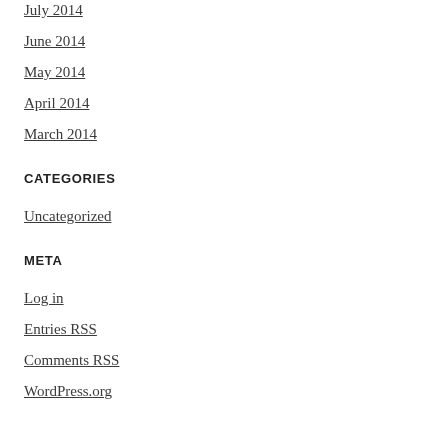July 2014
June 2014
May 2014
April 2014
March 2014
CATEGORIES
Uncategorized
META
Log in
Entries RSS
Comments RSS
WordPress.org